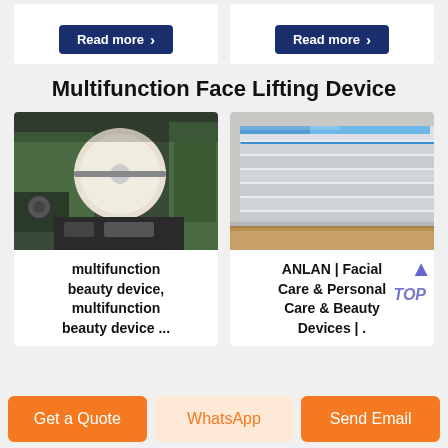[Figure (other): Two product cards at top, each with a 'Read more' button on dark blue background, partially visible]
Multifunction Face Lifting Device
[Figure (photo): Industrial paper/textile roll machine in a factory setting, green machinery visible]
[Figure (photo): Stack of aluminum or metal sheets with blue protective film on edges]
multifunction beauty device, multifunction beauty device ...
ANLAN | Facial Care & Personal Care & Beauty Devices | .
Get a Quote | WhatsApp | Send Email